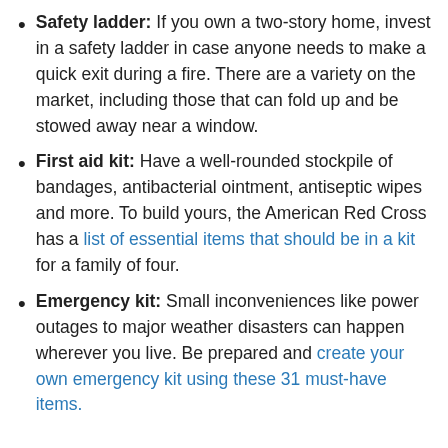Safety ladder: If you own a two-story home, invest in a safety ladder in case anyone needs to make a quick exit during a fire. There are a variety on the market, including those that can fold up and be stowed away near a window.
First aid kit: Have a well-rounded stockpile of bandages, antibacterial ointment, antiseptic wipes and more. To build yours, the American Red Cross has a list of essential items that should be in a kit for a family of four.
Emergency kit: Small inconveniences like power outages to major weather disasters can happen wherever you live. Be prepared and create your own emergency kit using these 31 must-have items.